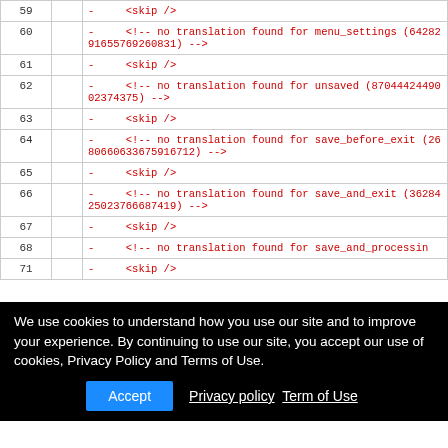| # |  | content |
| --- | --- | --- |
| 59 |  | -      <skip /> |
| 60 |  | -      <!-- no translation found for menu_settings (6428291655769260831) --> |
| 61 |  | -      <skip /> |
| 62 |  | -      <!-- no translation found for unsaved (8704442449002374375) --> |
| 63 |  | -      <skip /> |
| 64 |  | -      <!-- no translation found for save_before_exit (2680660633675916712) --> |
| 65 |  | -      <skip /> |
| 66 |  | -      <!-- no translation found for save_and_exit (3628425023766687419) --> |
| 67 |  | -      <skip /> |
| 68 |  | -      <!-- no translation found for save_and_processin |
| 71 |  | -      <skip /> |
We use cookies to understand how you use our site and to improve your experience. By continuing to use our site, you accept our use of cookies, Privacy Policy and Terms of Use.
Accept   Privacy policy   Term of Use